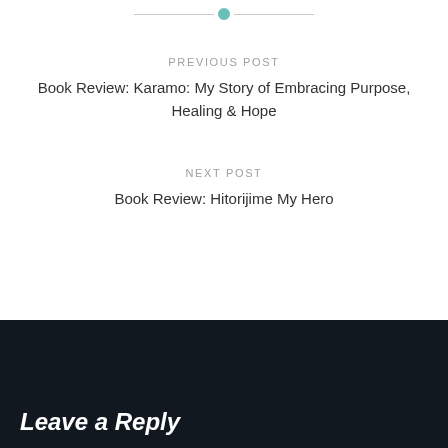[Figure (other): Horizontal divider with teal circle dot in center and gray lines extending left and right]
PREVIOUS POST
Book Review: Karamo: My Story of Embracing Purpose, Healing & Hope
NEXT POST
Book Review: Hitorijime My Hero
Leave a Reply